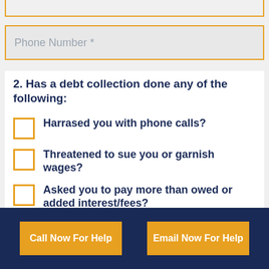Phone Number *
2. Has a debt collection done any of the following:
Harrased you with phone calls?
Threatened to sue you or garnish wages?
Asked you to pay more than owed or added interest/fees?
Told a third party about the debt?
Call Now For Help | Email Now For Help